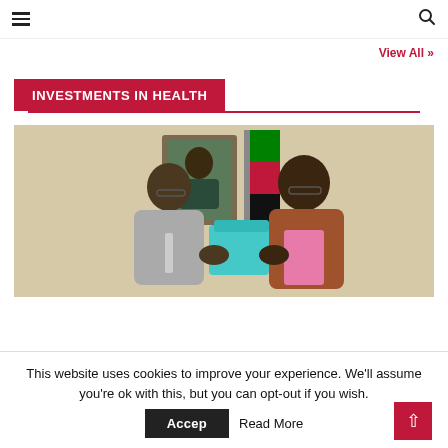≡  [search icon]
View All »
INVESTMENTS IN HEALTH
[Figure (photo): Two men in an office shaking hands and holding a document folder. A framed portrait and a flag are visible in the background.]
This website uses cookies to improve your experience. We'll assume you're ok with this, but you can opt-out if you wish. Accept  Read More